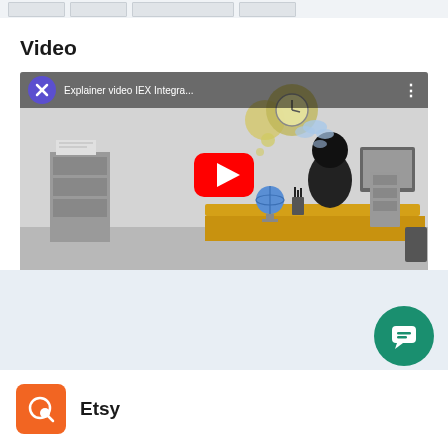[Figure (screenshot): Top strip showing partial thumbnail images of app screenshots]
Video
[Figure (screenshot): YouTube video thumbnail for 'Explainer video IEX Integra...' showing animated office scene with a person at a desk, globe, and computer. Red YouTube play button in center.]
Shopify App Link
[Figure (screenshot): Green circular chat bubble button in bottom right corner]
[Figure (logo): Etsy orange icon with magnifying glass]
Etsy